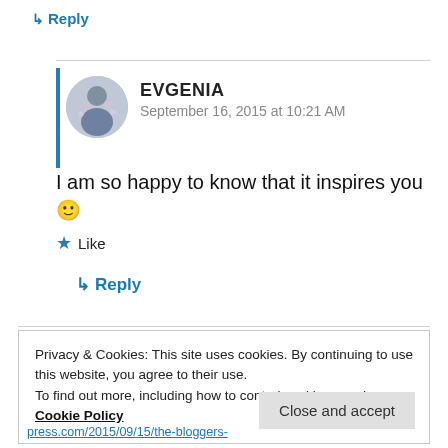↳ Reply
[Figure (photo): Round avatar photo of Evgenia, a woman with dark hair, in front of cherry blossoms]
EVGENIA
September 16, 2015 at 10:21 AM
I am so happy to know that it inspires you 🙂
★ Like
↳ Reply
Privacy & Cookies: This site uses cookies. By continuing to use this website, you agree to their use.
To find out more, including how to control cookies, see here: Cookie Policy
Close and accept
press.com/2015/09/15/the-bloggers-